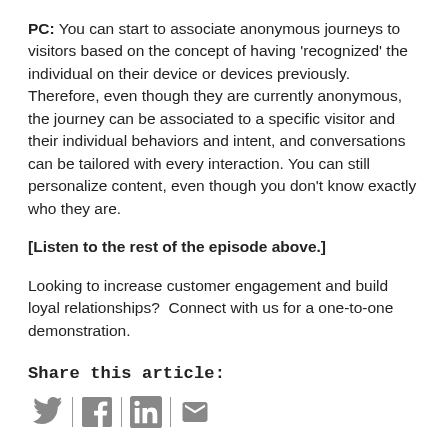PC: You can start to associate anonymous journeys to visitors based on the concept of having 'recognized' the individual on their device or devices previously. Therefore, even though they are currently anonymous, the journey can be associated to a specific visitor and their individual behaviors and intent, and conversations can be tailored with every interaction. You can still personalize content, even though you don't know exactly who they are.
[Listen to the rest of the episode above.]
Looking to increase customer engagement and build loyal relationships? Connect with us for a one-to-one demonstration.
Share this article:
[Figure (infographic): Social media sharing icons: Twitter bird, Facebook circle, LinkedIn 'in', and email envelope, separated by vertical dividers]